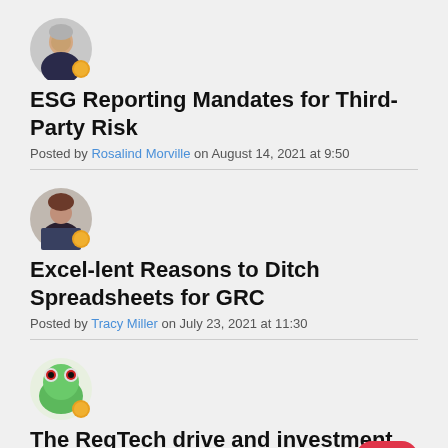[Figure (photo): Circular avatar of Rosalind Morville, a woman with short gray hair, with a small orange badge icon at bottom right]
ESG Reporting Mandates for Third-Party Risk
Posted by Rosalind Morville on August 14, 2021 at 9:50
[Figure (photo): Circular avatar of Tracy Miller, a woman with brown hair, with a small orange badge icon at bottom right]
Excel-lent Reasons to Ditch Spreadsheets for GRC
Posted by Tracy Miller on July 23, 2021 at 11:30
[Figure (photo): Circular avatar showing a green tree frog with red eyes, with a small orange badge icon at bottom right]
The RegTech drive and investment powering industry growth